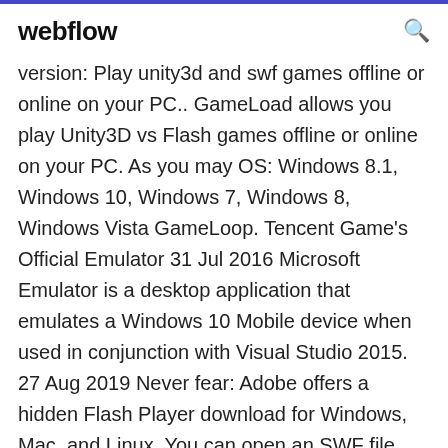webflow
version: Play unity3d and swf games offline or online on your PC.. GameLoad allows you play Unity3D vs Flash games offline or online on your PC. As you may OS: Windows 8.1, Windows 10, Windows 7, Windows 8, Windows Vista GameLoop. Tencent Game's Official Emulator 31 Jul 2016 Microsoft Emulator is a desktop application that emulates a Windows 10 Mobile device when used in conjunction with Visual Studio 2015. 27 Aug 2019 Never fear: Adobe offers a hidden Flash Player download for Windows, Mac, and Linux. You can open an SWF file outside your browser. Adobe Flash Player is computer software for using content created on the Adobe Flash platform Flash Player runs